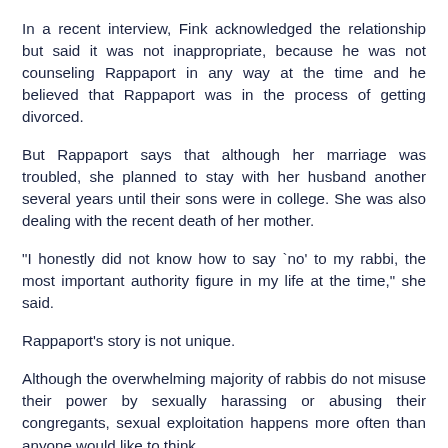In a recent interview, Fink acknowledged the relationship but said it was not inappropriate, because he was not counseling Rappaport in any way at the time and he believed that Rappaport was in the process of getting divorced.
But Rappaport says that although her marriage was troubled, she planned to stay with her husband another several years until their sons were in college. She was also dealing with the recent death of her mother.
"I honestly did not know how to say `no' to my rabbi, the most important authority figure in my life at the time," she said.
Rappaport's story is not unique.
Although the overwhelming majority of rabbis do not misuse their power by sexually harassing or abusing their congregants, sexual exploitation happens more often than anyone would like to think.